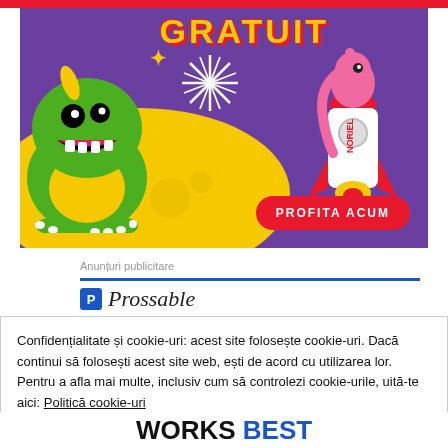[Figure (illustration): Promotional banner ad with purple background showing a green cartoon monster on the left, a pink creature riding a red rocket on the right, fireworks starburst in the center, yellow moon/ground, yellow sparkle stars, 'GRATUIT' text in yellow at top, and a red 'PROFITA ACUM' button at bottom right. Noriel brand logo on the rocket.]
Anunțuri publicitare
Prossable
Confidențialitate și cookie-uri: acest site folosește cookie-uri. Dacă continui să folosești acest site web, ești de acord cu utilizarea lor. Pentru a afla mai multe, inclusiv cum să controlezi cookie-urile, uită-te aici: Politică cookie-uri
Închide și acceptă
Works Best